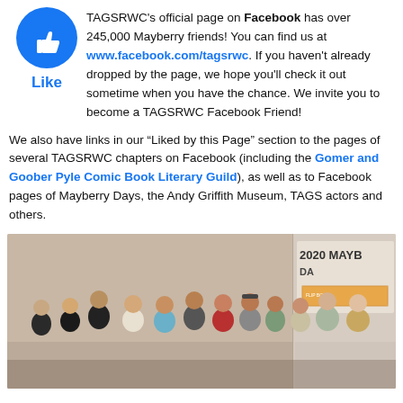TAGSRWC's official page on Facebook has over 245,000 Mayberry friends! You can find us at www.facebook.com/tagsrwc. If you haven't already dropped by the page, we hope you'll check it out sometime when you have the chance. We invite you to become a TAGSRWC Facebook Friend!
We also have links in our “Liked by this Page” section to the pages of several TAGSRWC chapters on Facebook (including the Gomer and Goober Pyle Comic Book Literary Guild), as well as to Facebook pages of Mayberry Days, the Andy Griffith Museum, TAGS actors and others.
[Figure (photo): Group photo of approximately 12 people standing together indoors. In the background on the right is a banner reading '2020 MAYBERRY DAYS'. The setting appears to be a community or meeting room with beige walls.]